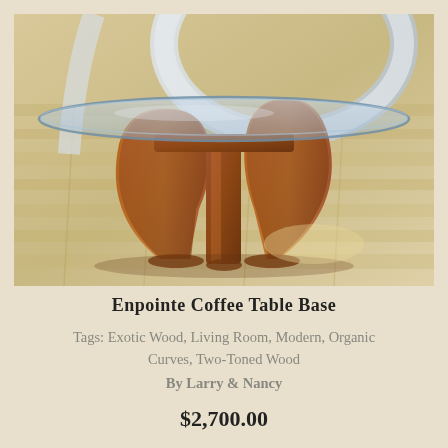[Figure (photo): Close-up photograph of an artistic coffee table with a glass top and a sculptural two-toned wooden base with organic curved legs on a light wood floor. A white curved chair back is visible in the background.]
Enpointe Coffee Table Base
Tags: Exotic Wood, Living Room, Modern, Organic Curves, Two-Toned Wood
By Larry & Nancy
$2,700.00